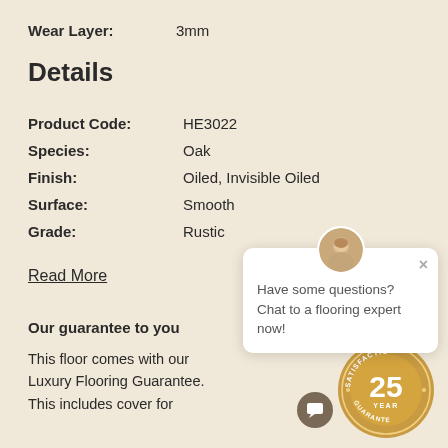Wear Layer: 3mm
Details
| Product Code: | HE3022 |
| Species: | Oak |
| Finish: | Oiled, Invisible Oiled |
| Surface: | Smooth |
| Grade: | Rustic |
Read More
[Figure (other): Chat popup with avatar, close button, and text: Have some questions? Chat to a flooring expert now!]
Our guarantee to you
This floor comes with our Luxury Flooring Guarantee. This includes cover for
[Figure (other): 25 Year Satisfaction Guarantee gold circular badge]